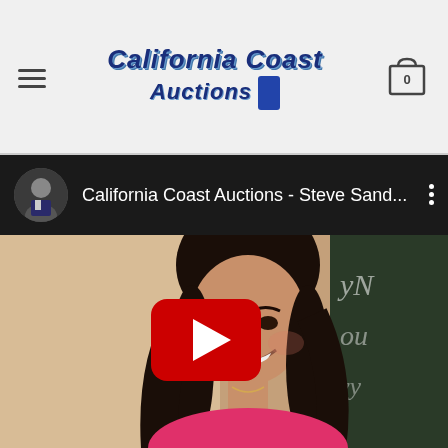[Figure (screenshot): California Coast Auctions website navigation bar with hamburger menu, logo, and shopping cart icon showing 0 items]
[Figure (screenshot): YouTube video bar showing California Coast Auctions - Steve Sand... channel with avatar and three-dot menu]
[Figure (photo): Video thumbnail showing a smiling woman with dark hair wearing a pink top, with YouTube play button overlay. Right edge shows partial chalkboard text.]